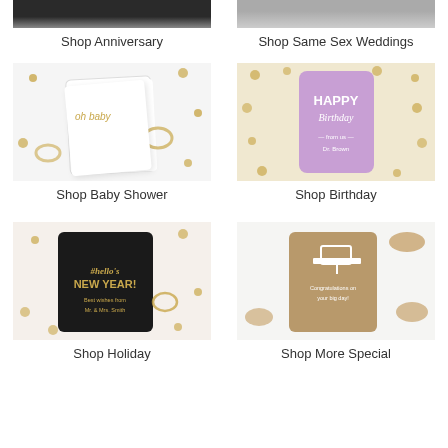[Figure (photo): Partial top of product image for Anniversary shop category]
Shop Anniversary
[Figure (photo): Partial top of product image for Same Sex Weddings shop category]
Shop Same Sex Weddings
[Figure (photo): Baby shower bag with gold 'oh baby' text, surrounded by gold confetti and ribbons]
Shop Baby Shower
[Figure (photo): Purple birthday card with Happy Birthday text, on gold polka dot background]
Shop Birthday
[Figure (photo): Black party bag with gold Hello New Year text, surrounded by gold confetti and decorations]
Shop Holiday
[Figure (photo): Tan/kraft graduation bag with white graduation cap graphic, surrounded by pretzels and decorations]
Shop More Special